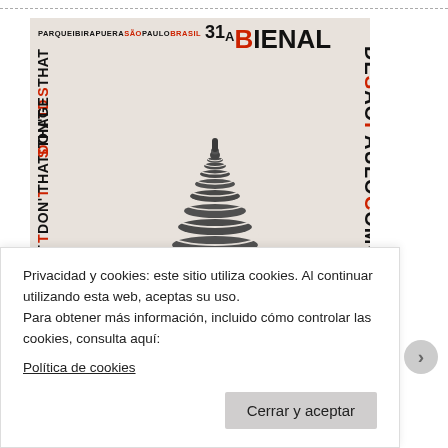[Figure (illustration): Poster for 31a Bienal de São Paulo – How to Talk About Things That Don't Exist (6 SET–7 DEZ 2014, Parque Ibirapuera, São Paulo, Brasil). Features a large black-and-white illustration of a spiral/conical shell or tower-like sculptural form on a light beige background, with bold typography arranged around the edges including rotated text on the left and right sides.]
Privacidad y cookies: este sitio utiliza cookies. Al continuar utilizando esta web, aceptas su uso.
Para obtener más información, incluido cómo controlar las cookies, consulta aquí:
Política de cookies
Cerrar y aceptar